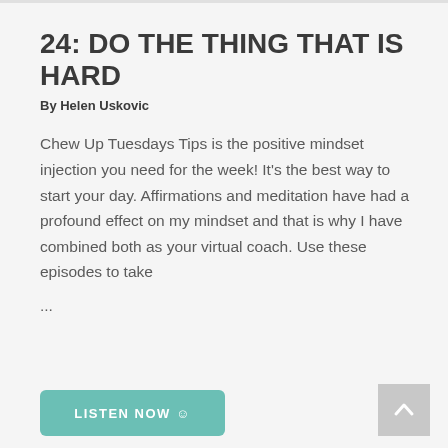24: DO THE THING THAT IS HARD
By Helen Uskovic
Chew Up Tuesdays Tips is the positive mindset injection you need for the week! It’s the best way to start your day. Affirmations and meditation have had a profound effect on my mindset and that is why I have combined both as your virtual coach. Use these episodes to take ...
LISTEN NOW